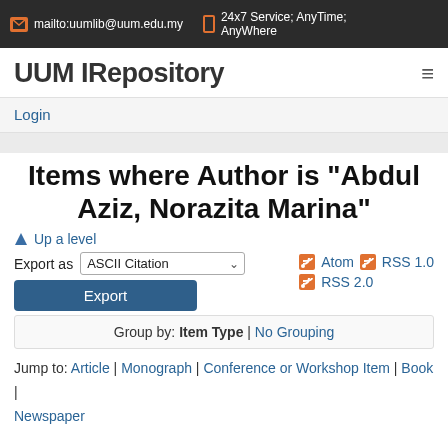mailto:uumlib@uum.edu.my | 24x7 Service; AnyTime; AnyWhere
UUM IRepository
Login
Items where Author is "Abdul Aziz, Norazita Marina"
Up a level
Export as ASCII Citation | Export | Atom | RSS 1.0 | RSS 2.0
Group by: Item Type | No Grouping
Jump to: Article | Monograph | Conference or Workshop Item | Book | Newspaper